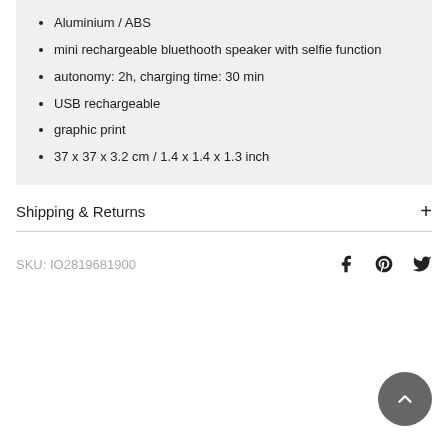Aluminium / ABS
mini rechargeable bluethooth speaker with selfie function
autonomy: 2h, charging time: 30 min
USB rechargeable
graphic print
37 x 37 x 3.2 cm / 1.4 x 1.4 x 1.3 inch
Shipping & Returns
SKU: IO2819681900